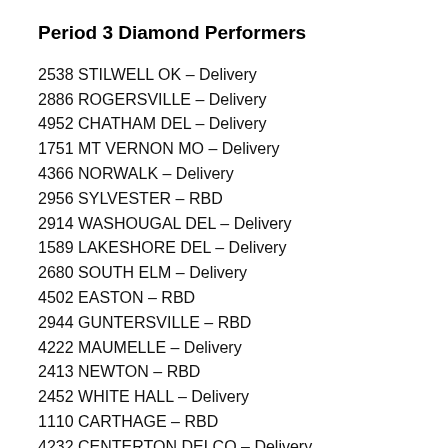Period 3 Diamond Performers
2538 STILWELL OK – Delivery
2886 ROGERSVILLE – Delivery
4952 CHATHAM DEL – Delivery
1751 MT VERNON MO – Delivery
4366 NORWALK – Delivery
2956 SYLVESTER – RBD
2914 WASHOUGAL DEL – Delivery
1589 LAKESHORE DEL – Delivery
2680 SOUTH ELM – Delivery
4502 EASTON – RBD
2944 GUNTERSVILLE – RBD
4222 MAUMELLE – Delivery
2413 NEWTON – RBD
2452 WHITE HALL – Delivery
1110 CARTHAGE – RBD
4232 CENTERTON DELCO – Delivery